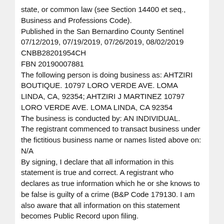state, or common law (see Section 14400 et seq., Business and Professions Code).
Published in the San Bernardino County Sentinel 07/12/2019, 07/19/2019, 07/26/2019, 08/02/2019
CNBB28201954CH
FBN 20190007881
The following person is doing business as: AHTZIRI BOUTIQUE. 10797 LORO VERDE AVE. LOMA LINDA, CA, 92354; AHTZIRI J MARTINEZ 10797 LORO VERDE AVE. LOMA LINDA, CA 92354
The business is conducted by: AN INDIVIDUAL.
The registrant commenced to transact business under the fictitious business name or names listed above on: N/A
By signing, I declare that all information in this statement is true and correct. A registrant who declares as true information which he or she knows to be false is guilty of a crime (B&P Code 179130. I am also aware that all information on this statement becomes Public Record upon filing.
s/ AHTZIRI J MARTINEZ, OWNERStatement filed with the County Clerk of San Bernardino on: 07/03/2019
I hereby certify that this copy is a correct copy of the